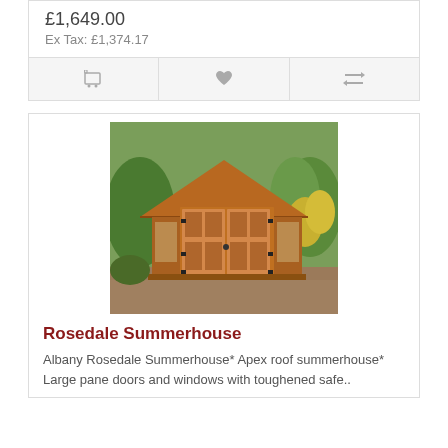Angled sides* Thicker than average tongue a..
£1,649.00
Ex Tax: £1,374.17
[Figure (photo): Photo of a wooden Rosedale Summerhouse with apex roof, large pane doors and windows, set in a garden]
Rosedale Summerhouse
Albany Rosedale Summerhouse* Apex roof summerhouse* Large pane doors and windows with toughened safe..